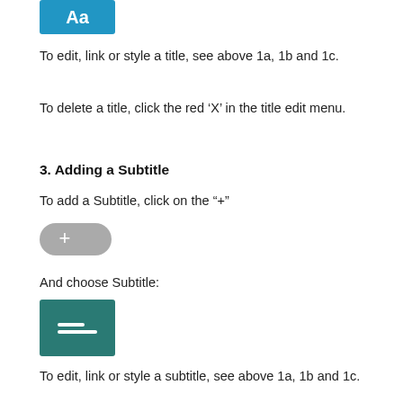[Figure (screenshot): Blue rectangle button with white 'Aa' text icon]
To edit, link or style a title, see above 1a, 1b and 1c.
To delete a title, click the red ‘X’ in the title edit menu.
3. Adding a Subtitle
To add a Subtitle, click on the “+”
[Figure (screenshot): Gray rounded pill/toggle button with white plus (+) symbol]
And choose Subtitle:
[Figure (screenshot): Teal/dark green square icon with two white horizontal lines representing subtitle]
To edit, link or style a subtitle, see above 1a, 1b and 1c.